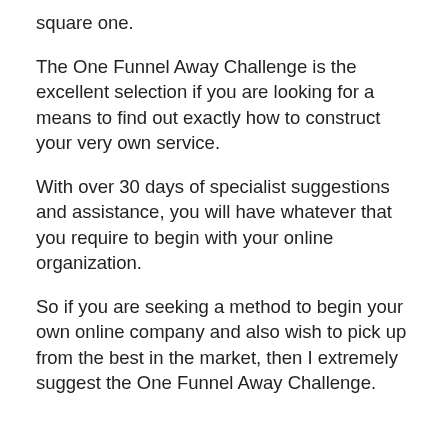square one.
The One Funnel Away Challenge is the excellent selection if you are looking for a means to find out exactly how to construct your very own service.
With over 30 days of specialist suggestions and assistance, you will have whatever that you require to begin with your online organization.
So if you are seeking a method to begin your own online company and also wish to pick up from the best in the market, then I extremely suggest the One Funnel Away Challenge.